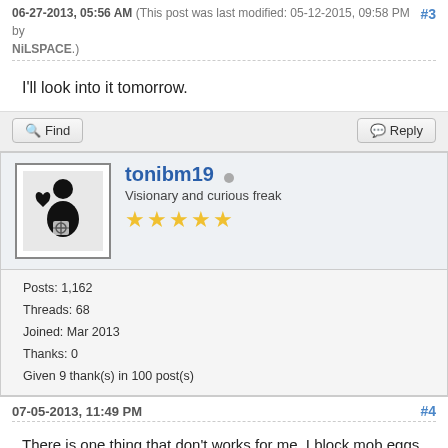06-27-2013, 05:56 AM (This post was last modified: 05-12-2015, 09:58 PM by NiLSPACE.) #3
I'll look into it tomorrow.
tonibm19 • Visionary and curious freak ★★★★★
Posts: 1,162
Threads: 68
Joined: Mar 2013
Thanks: 0
Given 9 thank(s) in 100 post(s)
07-05-2013, 11:49 PM #4
There is one thing that don't works for me. I block mob eggs, but you can spawn mobs.